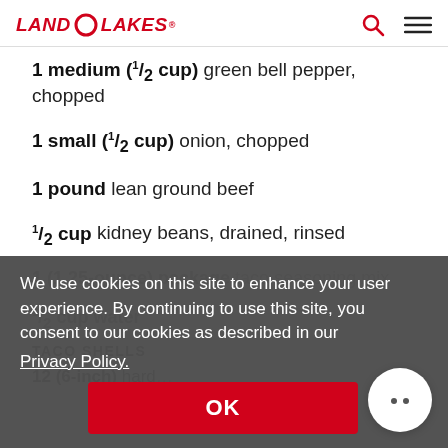LAND O LAKES
1 medium (1/2 cup) green bell pepper, chopped
1 small (1/2 cup) onion, chopped
1 pound lean ground beef
1/2 cup kidney beans, drained, rinsed
1 (1.25-ounce) package taco seasoning mix
1/2 cup water
TACO SHELLS
12 (6-inch) hard...
We use cookies on this site to enhance your user experience. By continuing to use this site, you consent to our cookies as described in our Privacy Policy.